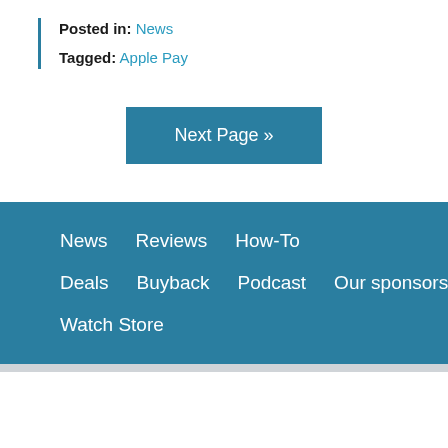Posted in: News
Tagged: Apple Pay
Next Page »
News   Reviews   How-To   Deals   Buyback   Podcast   Our sponsors   Watch Store